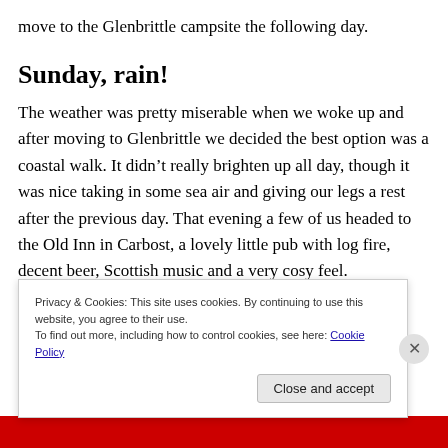move to the Glenbrittle campsite the following day.
Sunday, rain!
The weather was pretty miserable when we woke up and after moving to Glenbrittle we decided the best option was a coastal walk. It didn’t really brighten up all day, though it was nice taking in some sea air and giving our legs a rest after the previous day. That evening a few of us headed to the Old Inn in Carbost, a lovely little pub with log fire, decent beer, Scottish music and a very cosy feel.
Privacy & Cookies: This site uses cookies. By continuing to use this website, you agree to their use.
To find out more, including how to control cookies, see here: Cookie Policy